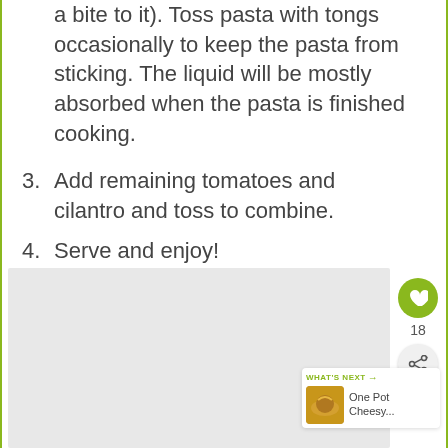a bite to it). Toss pasta with tongs occasionally to keep the pasta from sticking. The liquid will be mostly absorbed when the pasta is finished cooking.
3. Add remaining tomatoes and cilantro and toss to combine.
4. Serve and enjoy!
[Figure (photo): Food photo placeholder area with UI overlay showing heart/like button (18 likes), share button, and 'WHAT'S NEXT' card showing One Pot Cheesy...]